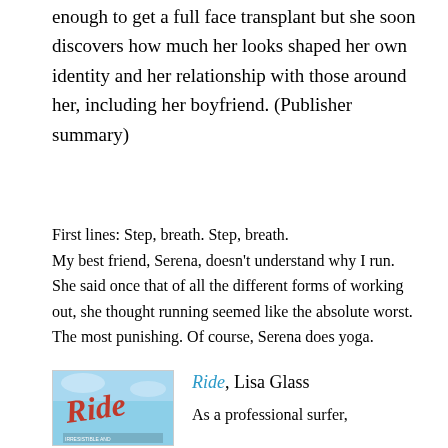enough to get a full face transplant but she soon discovers how much her looks shaped her own identity and her relationship with those around her, including her boyfriend. (Publisher summary)
First lines: Step, breath. Step, breath.
My best friend, Serena, doesn't understand why I run. She said once that of all the different forms of working out, she thought running seemed like the absolute worst. The most punishing. Of course, Serena does yoga.
[Figure (illustration): Book cover of 'Ride' by Lisa Glass showing the title in orange cursive script on a blue sky background]
Ride, Lisa Glass

As a professional surfer,